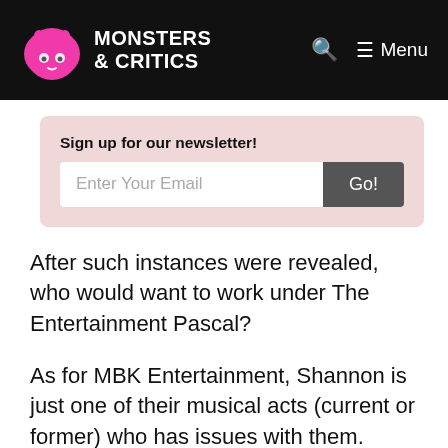Monsters & Critics | Menu
Sign up for our newsletter!
Enter Your Email  Go!
After such instances were revealed, who would want to work under The Entertainment Pascal?
As for MBK Entertainment, Shannon is just one of their musical acts (current or former) who has issues with them.
T-ara has also revealed their issues with MBK Entertainment too. This is probably why the remaining four members of the popular girl